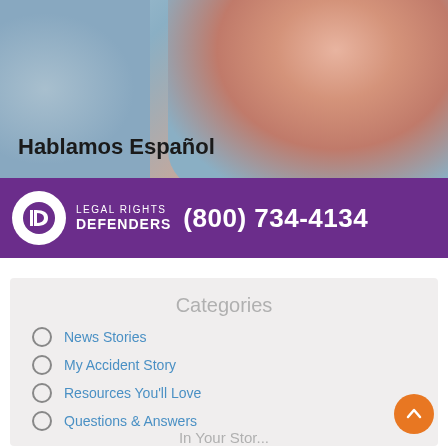[Figure (photo): Blurred background photo of a woman wearing a headset/microphone, with text overlay 'Hablamos Español']
[Figure (logo): Legal Rights Defenders purple banner with logo and phone number (800) 734-4134]
Categories
News Stories
My Accident Story
Resources You'll Love
Questions & Answers